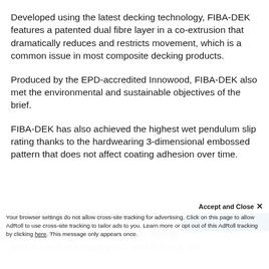Developed using the latest decking technology, FIBA-DEK features a patented dual fibre layer in a co-extrusion that dramatically reduces and restricts movement, which is a common issue in most composite decking products.
Produced by the EPD-accredited Innowood, FIBA-DEK also met the environmental and sustainable objectives of the brief.
FIBA-DEK has also achieved the highest wet pendulum slip rating thanks to the hardwearing 3-dimensional embossed pattern that does not affect coating adhesion over time.
FIBA-DEK decking helped realise the design vision for the outdoor spaces of Jordan Springs benefits with the sloping look and feel of a and
Accept and Close ×
Your browser settings do not allow cross-site tracking for advertising. Click on this page to allow AdRoll to use cross-site tracking to tailor ads to you. Learn more or opt out of this AdRoll tracking by clicking here. This message only appears once.